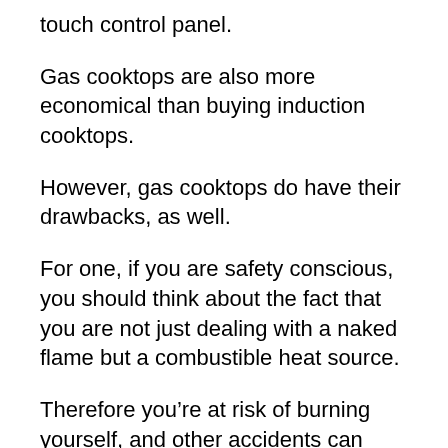touch control panel.
Gas cooktops are also more economical than buying induction cooktops.
However, gas cooktops do have their drawbacks, as well.
For one, if you are safety conscious, you should think about the fact that you are not just dealing with a naked flame but a combustible heat source.
Therefore you’re at risk of burning yourself, and other accidents can occur, which means you end up with a tea towel on fire.
Gas leaks can also occur, and cooktops like this do